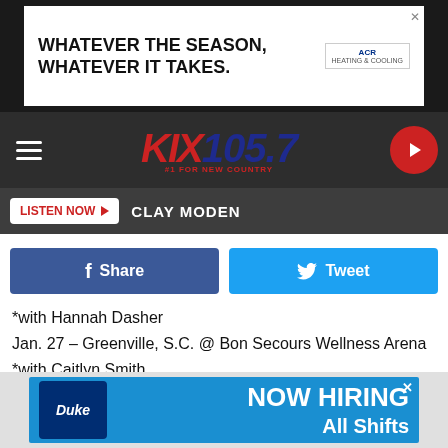[Figure (screenshot): ACR Heating & Cooling advertisement banner: 'WHATEVER THE SEASON, WHATEVER IT TAKES.']
[Figure (logo): KIX 105.7 radio station header with hamburger menu, logo, and play button]
LISTEN NOW ▶  CLAY MODEN
[Figure (screenshot): Facebook Share button and Twitter Tweet button]
*with Hannah Dasher
Jan. 27 – Greenville, S.C. @ Bon Secours Wellness Arena
*with Caitlyn Smith
Jan. 28 – Lexington, Ky. @ Rupp Arena *with Caitlyn Smith
Jan. 29 – Knoxville, Tenn. @ Thompson-Boling Arena *with Caitlyn Smith
Feb. 3 – Omaha, Ne. @ CHI Health Center Omaha *with
[Figure (screenshot): Duke 'NOW HIRING All Shifts' advertisement banner at bottom]